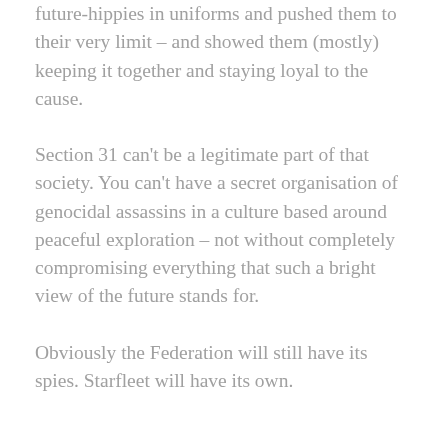future-hippies in uniforms and pushed them to their very limit – and showed them (mostly) keeping it together and staying loyal to the cause.
Section 31 can't be a legitimate part of that society. You can't have a secret organisation of genocidal assassins in a culture based around peaceful exploration – not without completely compromising everything that such a bright view of the future stands for.
Obviously the Federation will still have its spies. Starfleet will have its own.